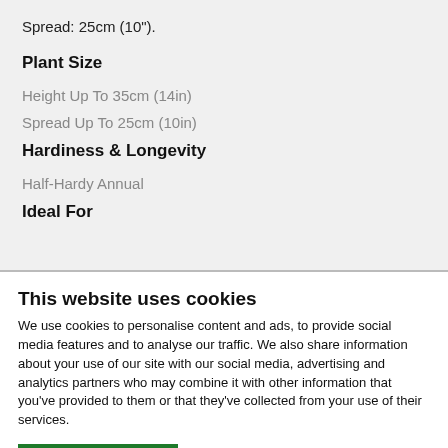Spread: 25cm (10").
Plant Size
Height Up To 35cm (14in)
Spread Up To 25cm (10in)
Hardiness & Longevity
Half-Hardy Annual
Ideal For
This website uses cookies
We use cookies to personalise content and ads, to provide social media features and to analyse our traffic. We also share information about your use of our site with our social media, advertising and analytics partners who may combine it with other information that you've provided to them or that they've collected from your use of their services.
OK
Settings